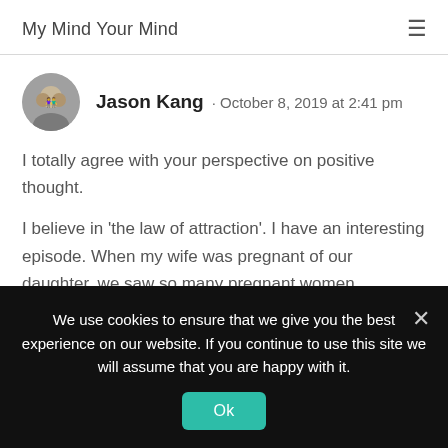My Mind Your Mind
Jason Kang · October 8, 2019 at 2:41 pm
I totally agree with your perspective on positive thought.

I believe in 'the law of attraction'. I have an interesting episode. When my wife was pregnant of our daughter, we saw so many pregnant women everywhere we went – in the street, on a subway
We use cookies to ensure that we give you the best experience on our website. If you continue to use this site we will assume that you are happy with it.